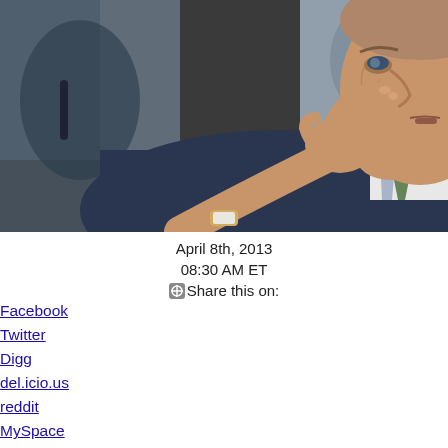[Figure (photo): Close-up photo of a middle-aged man in a suit touching his nose/mouth area with his hand, appearing to be in a formal hearing or meeting setting. Dark/blurred background.]
April 8th, 2013
08:30 AM ET
Share this on:
Facebook
Twitter
Digg
del.icio.us
reddit
MySpace
StumbleUpon
Comments (5 comments)